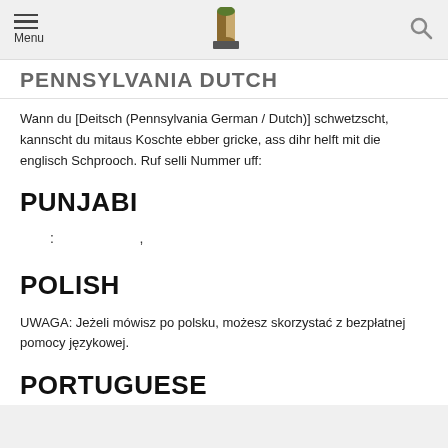Menu [logo] [search]
PENNSYLVANIA DUTCH (partial)
Wann du [Deitsch (Pennsylvania German / Dutch)] schwetzscht, kannscht du mitaus Koschte ebber gricke, ass dihr helft mit die englisch Schprooch. Ruf selli Nummer uff:
PUNJABI
: ,
POLISH
UWAGA: Jeżeli mówisz po polsku, możesz skorzystać z bezpłatnej pomocy językowej.
PORTUGUESE